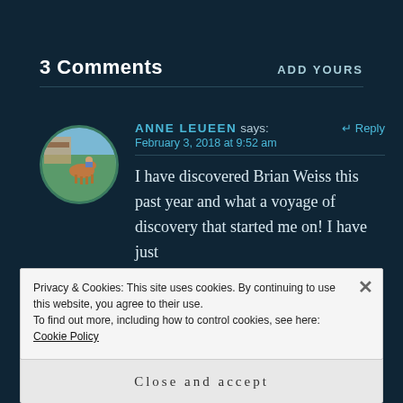3 Comments
ADD YOURS
ANNE LEUEEN says:
February 3, 2018 at 9:52 am
Reply
I have discovered Brian Weiss this past year and what a voyage of discovery that started me on! I have just
Privacy & Cookies: This site uses cookies. By continuing to use this website, you agree to their use.
To find out more, including how to control cookies, see here: Cookie Policy
Close and accept